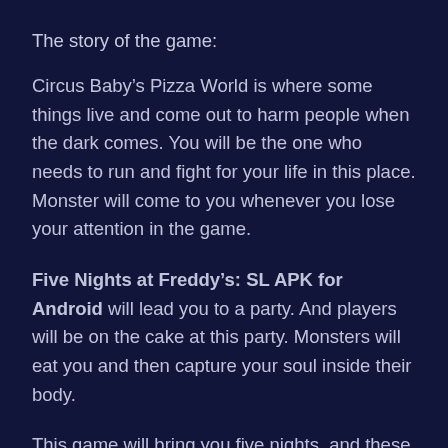The story of the game:
Circus Baby’s Pizza World is where some things live and come out to harm people when the dark comes. You will be the one who needs to run and fight for your life in this place. Monster will come to you whenever you lose your attention in the game.
Five Nights at Freddy’s: SL APK for Android will lead you to a party. And players will be on the cake at this party. Monsters will eat you and then capture your soul inside their body.
This game will bring you five nights, and these nights will go slowly. If you want to live, you better follow the FNaF Fan games Android